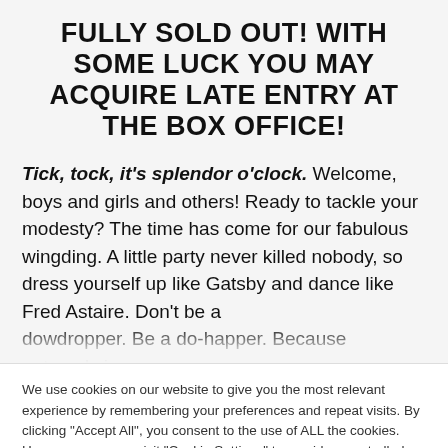FULLY SOLD OUT! WITH SOME LUCK YOU MAY ACQUIRE LATE ENTRY AT THE BOX OFFICE!
Tick, tock, it’s splendor o’clock. Welcome, boys and girls and others! Ready to tackle your modesty? The time has come for our fabulous wingding. A little party never killed nobody, so dress yourself up like Gatsby and dance like Fred Astaire. Don’t be a dowdropper. Be a do-happer. Because autumn’s in
We use cookies on our website to give you the most relevant experience by remembering your preferences and repeat visits. By clicking “Accept All”, you consent to the use of ALL the cookies. However, you may visit “Cookie Settings” to provide a controlled consent.